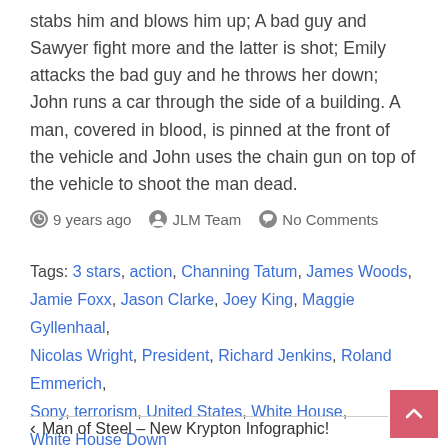stabs him and blows him up; A bad guy and Sawyer fight more and the latter is shot; Emily attacks the bad guy and he throws her down; John runs a car through the side of a building. A man, covered in blood, is pinned at the front of the vehicle and John uses the chain gun on top of the vehicle to shoot the man dead.
9 years ago   JLM Team   No Comments
Tags: 3 stars, action, Channing Tatum, James Woods, Jamie Foxx, Jason Clarke, Joey King, Maggie Gyllenhaal, Nicolas Wright, President, Richard Jenkins, Roland Emmerich, Sony, terrorism, United States, White House, White House Down
Man of Steel – New Krypton Infographic!